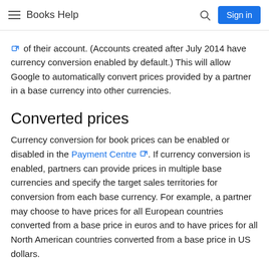Books Help
of their account. (Accounts created after July 2014 have currency conversion enabled by default.) This will allow Google to automatically convert prices provided by a partner in a base currency into other currencies.
Converted prices
Currency conversion for book prices can be enabled or disabled in the Payment Centre. If currency conversion is enabled, partners can provide prices in multiple base currencies and specify the target sales territories for conversion from each base currency. For example, a partner may choose to have prices for all European countries converted from a base price in euros and to have prices for all North American countries converted from a base price in US dollars.